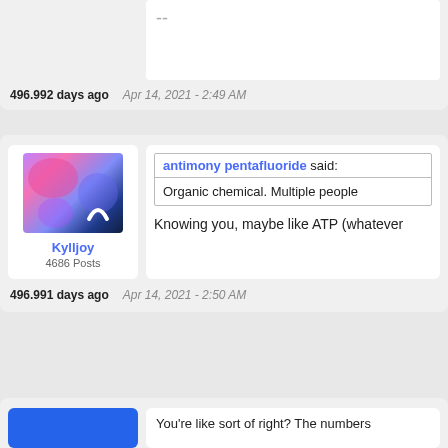496.992 days ago   Apr 14, 2021 - 2:49 AM
[Figure (photo): User avatar showing a colorful nebula/galaxy image with a white arc/phone icon overlay, for user Kylljoy]
Kylljoy
4686 Posts
antimony pentafluoride said:
Organic chemical. Multiple people
Knowing you, maybe like ATP (whatever
496.991 days ago   Apr 14, 2021 - 2:50 AM
You're like sort of right? The numbers